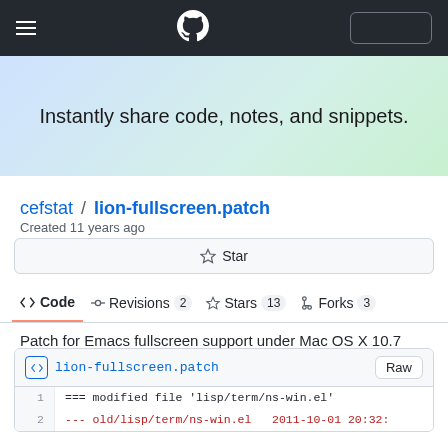[Figure (screenshot): GitHub navigation bar with hamburger menu, GitHub logo, and a rounded rectangle button outline on dark background]
Instantly share code, notes, and snippets.
cefstat / lion-fullscreen.patch
Created 11 years ago
Star
<> Code   -O-Revisions 2   ☆Stars 13   ⑂Forks 3
Patch for Emacs fullscreen support under Mac OS X 10.7 (Lion)
lion-fullscreen.patch   Raw
1   === modified file 'lisp/term/ns-win.el'
2   --- old/lisp/term/ns-win.el   2011-10-01 20:32: